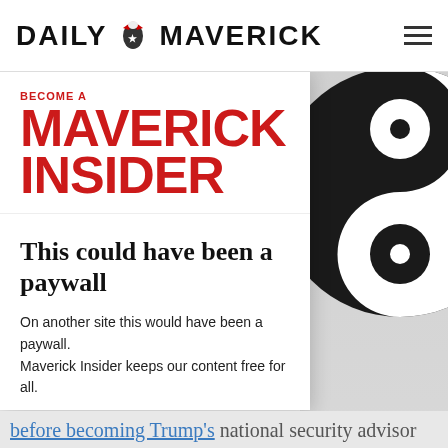DAILY MAVERICK
[Figure (illustration): Large black and white yin-yang style circular graphic on grey background, partially visible on right side of page]
[Figure (illustration): Become a Maverick Insider promotional banner with red bold text on white background]
This could have been a paywall
On another site this would have been a paywall. Maverick Insider keeps our content free for all.
Become an Insider
before becoming Trump's national security advisor